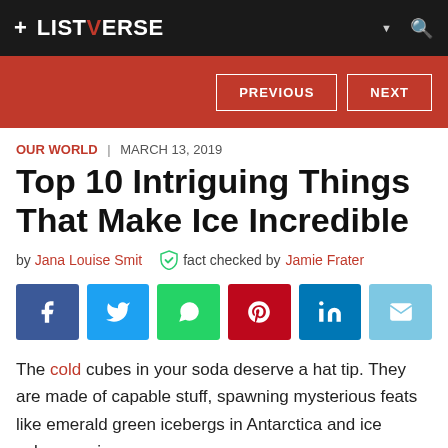+ LISTVERSE
PREVIOUS  NEXT
OUR WORLD | MARCH 13, 2019
Top 10 Intriguing Things That Make Ice Incredible
by Jana Louise Smit   fact checked by Jamie Frater
[Figure (infographic): Social share buttons: Facebook, Twitter, WhatsApp, Pinterest, LinkedIn, Email]
The cold cubes in your soda deserve a hat tip. They are made of capable stuff, spawning mysterious feats like emerald green icebergs in Antarctica and ice volcanoes in space.